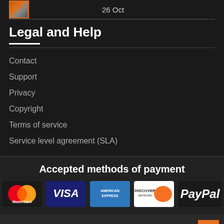26 Oct
Legal and Help
Contact
Support
Privacy
Copyright
Terms of service
Service level agreement (SLA)
Accepted methods of payment
[Figure (logo): Payment method logos: MasterCard, VISA, American Express, Discover, PayPal]
Copyright © 2020 | webstuff.co.il. All rights reserved.